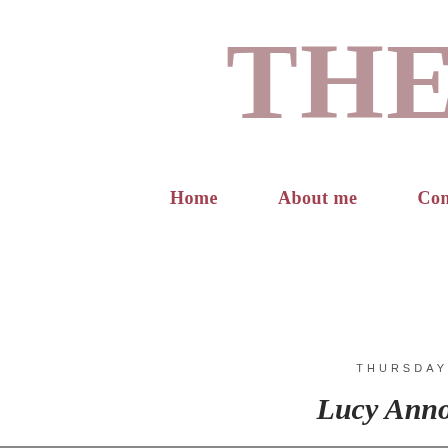THE
Home    About me    Contact / P...
THURSDAY
Lucy Anno...